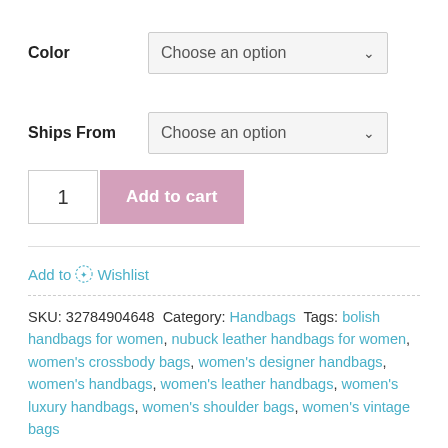Color  Choose an option
Ships From  Choose an option
1  Add to cart
Add to Wishlist
SKU: 32784904648 Category: Handbags Tags: bolish handbags for women, nubuck leather handbags for women, women's crossbody bags, women's designer handbags, women's handbags, women's leather handbags, women's luxury handbags, women's shoulder bags, women's vintage bags